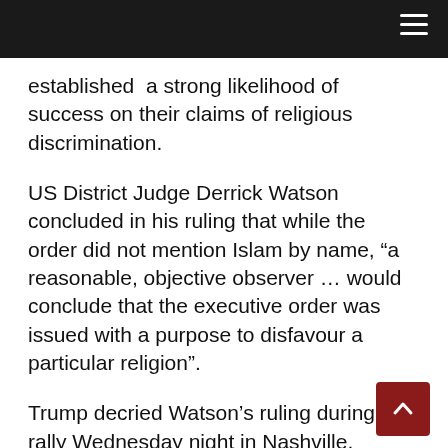established  a strong likelihood of success on their claims of religious discrimination.
US District Judge Derrick Watson concluded in his ruling that while the order did not mention Islam by name, “a reasonable, objective observer … would conclude that the executive order was issued with a purpose to disfavour a particular religion”.
Trump decried Watson’s ruling during a rally Wednesday night in Nashville, introducing his statement as “the bad, the sad news.”
“The order he blocked was a watered-down version of the first one,” Trump said, as the